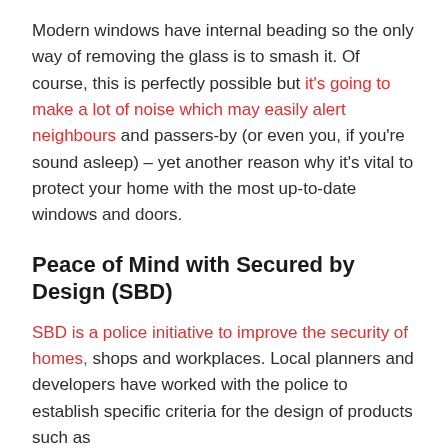Modern windows have internal beading so the only way of removing the glass is to smash it. Of course, this is perfectly possible but it's going to make a lot of noise which may easily alert neighbours and passers-by (or even you, if you're sound asleep) – yet another reason why it's vital to protect your home with the most up-to-date windows and doors.
Peace of Mind with Secured by Design (SBD)
SBD is a police initiative to improve the security of homes, shops and workplaces. Local planners and developers have worked with the police to establish specific criteria for the design of products such as doors and windows. The criteria sets out the...